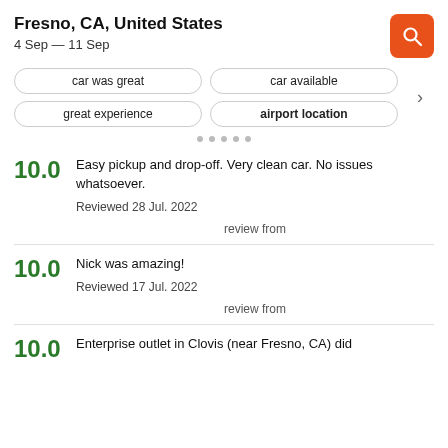Fresno, CA, United States
4 Sep — 11 Sep
car was great
car available
great experience
airport location
10.0
Easy pickup and drop-off. Very clean car. No issues whatsoever.
Reviewed 28 Jul. 2022
review from
10.0
Nick was amazing!
Reviewed 17 Jul. 2022
review from
10.0
Enterprise outlet in Clovis (near Fresno, CA) did